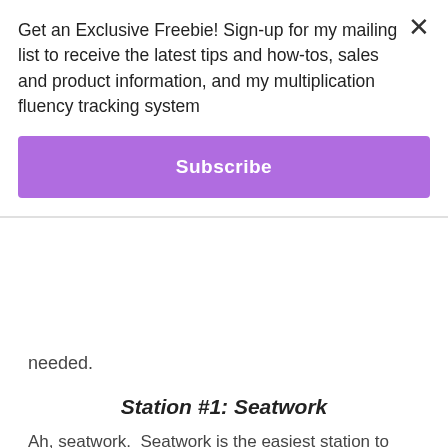Get an Exclusive Freebie! Sign-up for my mailing list to receive the latest tips and how-tos, sales and product information, and my multiplication fluency tracking system
Subscribe
needed.
Station #1: Seatwork
Ah, seatwork.  Seatwork is the easiest station to prepare for.  It is literally that–work to do at their seats (or a “smart spot around the room,” if you're flexible like me.)  I usually assign one of the worksheets from our curriculum (MyMath by McGraw-Hill) or another one I find/make myself to practice the concept, ability to focus on my own and